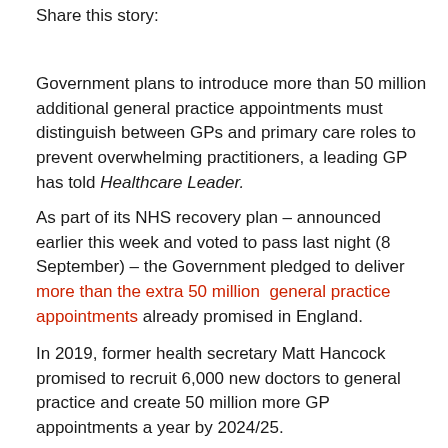Share this story:
Government plans to introduce more than 50 million additional general practice appointments must distinguish between GPs and primary care roles to prevent overwhelming practitioners, a leading GP has told Healthcare Leader.
As part of its NHS recovery plan – announced earlier this week and voted to pass last night (8 September) – the Government pledged to deliver more than the extra 50 million general practice appointments already promised in England.
In 2019, former health secretary Matt Hancock promised to recruit 6,000 new doctors to general practice and create 50 million more GP appointments a year by 2024/25.